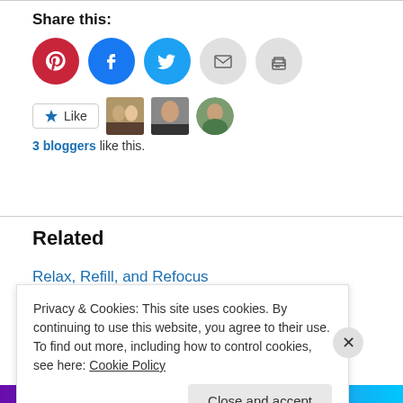Share this:
[Figure (infographic): Social share buttons: Pinterest (red circle), Facebook (blue circle), Twitter (cyan circle), Email (gray circle), Print (gray circle)]
[Figure (infographic): Like button with star icon, followed by three blogger avatar images]
3 bloggers like this.
Related
Relax, Refill, and Refocus
July 22, 2014
In "Husband"
Privacy & Cookies: This site uses cookies. By continuing to use this website, you agree to their use.
To find out more, including how to control cookies, see here: Cookie Policy